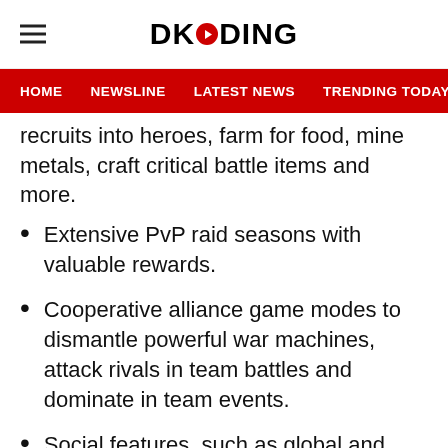DKODING
HOME  NEWSLINE  LATEST NEWS  TRENDING TODAY  ENT
recruits into heroes, farm for food, mine metals, craft critical battle items and more.
Extensive PvP raid seasons with valuable rewards.
Cooperative alliance game modes to dismantle powerful war machines, attack rivals in team battles and dominate in team events.
Social features, such as global and alliance chats, allow players to exchange tactics and form teams to achieve the